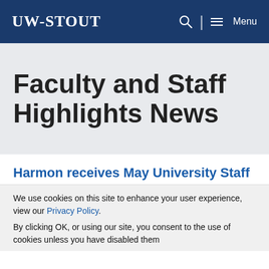UW-STOUT | Menu
Faculty and Staff Highlights News
Harmon receives May University Staff
We use cookies on this site to enhance your user experience, view our Privacy Policy.
By clicking OK, or using our site, you consent to the use of cookies unless you have disabled them